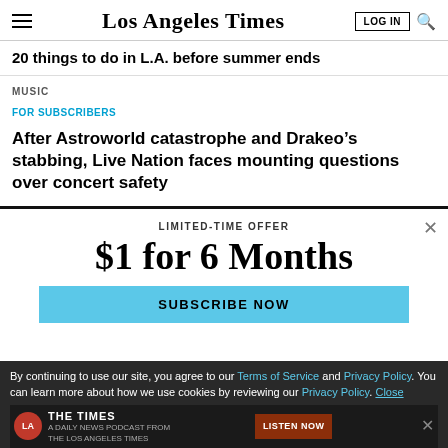Los Angeles Times
20 things to do in L.A. before summer ends
MUSIC
FOR SUBSCRIBERS
After Astroworld catastrophe and Drakeo's stabbing, Live Nation faces mounting questions over concert safety
LIMITED-TIME OFFER
$1 for 6 Months
SUBSCRIBE NOW
By continuing to use our site, you agree to our Terms of Service and Privacy Policy. You can learn more about how we use cookies by reviewing our Privacy Policy. Close